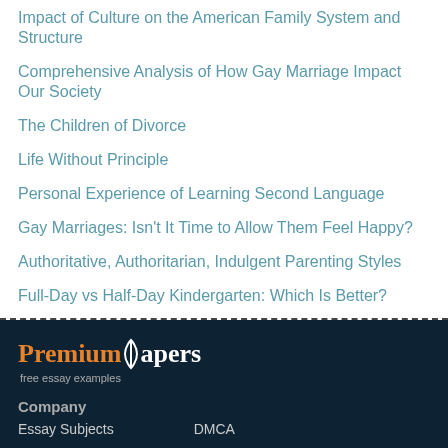Impact of Culture on the American Family System and Structure
Comprehensive Analysis of How Gay Marriage Impact Our Society
The Children of Divorce
Life Without Principle
Personal Experience of Learning Second Language
Gay Marriages: Isn't It Time to Allow Them Feel Happy?
Authoritative, Authoritarian, Indulgent Parenting Styles
Full-Day vs Half-Day Kindergarten: Which Is Better?
Check the price of your paper →
Premium Papers – free essay examples. Company. Essay Subjects. DMCA.